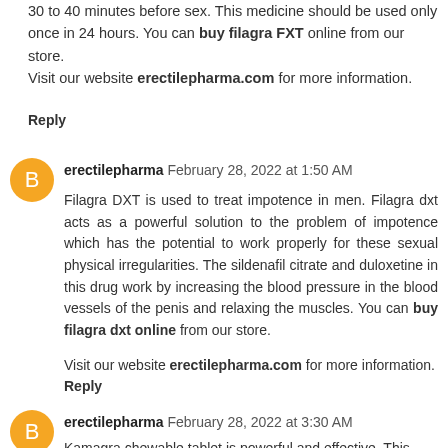30 to 40 minutes before sex. This medicine should be used only once in 24 hours. You can buy filagra FXT online from our store.
Visit our website erectilepharma.com for more information.
Reply
erectilepharma February 28, 2022 at 1:50 AM
Filagra DXT is used to treat impotence in men. Filagra dxt acts as a powerful solution to the problem of impotence which has the potential to work properly for these sexual physical irregularities. The sildenafil citrate and duloxetine in this drug work by increasing the blood pressure in the blood vessels of the penis and relaxing the muscles. You can buy filagra dxt online from our store.
Visit our website erectilepharma.com for more information.
Reply
erectilepharma February 28, 2022 at 3:30 AM
Kamagra chewable tablet is powerful and effective. This drug